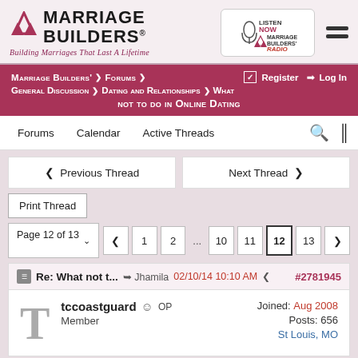[Figure (logo): Marriage Builders logo with triangles and tagline 'Building Marriages That Last A Lifetime', plus Marriage Builders Radio badge and hamburger menu]
Marriage Builders' > Forums > General Discussion > Dating and Relationships > What not to do in Online Dating | Register | Log In
Forums | Calendar | Active Threads
Previous Thread | Next Thread
Print Thread
Page 12 of 13  1  2  ...  10  11  12  13
Re: What not t...  Jhamila  02/10/14 10:10 AM  #2781945
tccoastguard  OP  Member
Joined: Aug 2008
Posts: 656
St Louis, MO